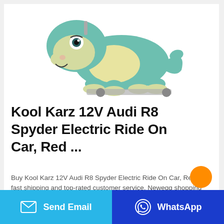[Figure (photo): A plush green and yellow dinosaur ride-on toy on wheels, facing left, with a white background.]
Kool Karz 12V Audi R8 Spyder Electric Ride On Car, Red ...
Buy Kool Karz 12V Audi R8 Spyder Electric Ride On Car, Red with fast shipping and top-rated customer service. Newegg shopping upgraded ™ ... Kool Karz 12V Audi R8 Spyder Electric Ride On Car, Red. Be the first to review this product. Please note that...